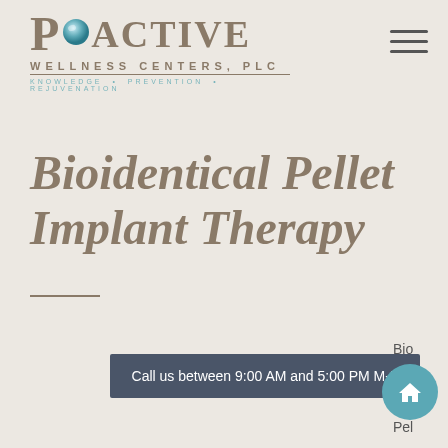[Figure (logo): Proactive Wellness Centers, PLC logo with teal orb, tagline: KNOWLEDGE • PREVENTION • REJUVENATION]
Bioidentical Pellet Implant Therapy
Bioidentical Pel...
Call us between 9:00 AM and 5:00 PM M-F